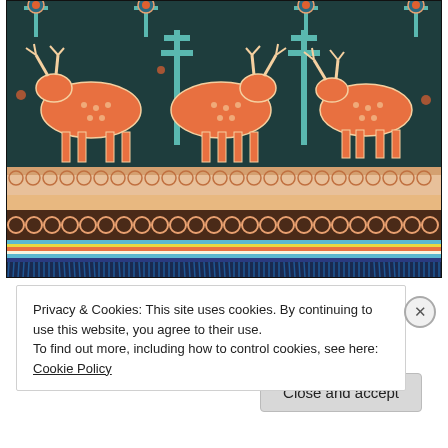[Figure (photo): Close-up photograph of an Indonesian ikat textile with orange deer/animal figures on a dark teal/navy background, featuring geometric border patterns and blue fringe at the bottom.]
Privacy & Cookies: This site uses cookies. By continuing to use this website, you agree to their use.
To find out more, including how to control cookies, see here: Cookie Policy
Close and accept